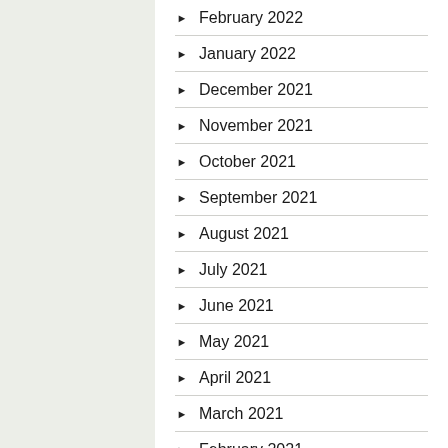February 2022
January 2022
December 2021
November 2021
October 2021
September 2021
August 2021
July 2021
June 2021
May 2021
April 2021
March 2021
February 2021
January 2021
December 2020
November 2020